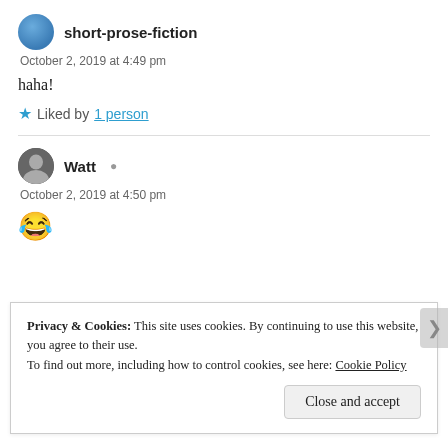short-prose-fiction — October 2, 2019 at 4:49 pm
haha!
★ Liked by 1 person
Watt — October 2, 2019 at 4:50 pm
😂
Privacy & Cookies: This site uses cookies. By continuing to use this website, you agree to their use. To find out more, including how to control cookies, see here: Cookie Policy
Close and accept